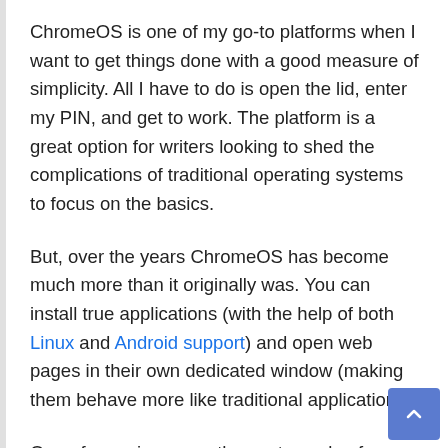ChromeOS is one of my go-to platforms when I want to get things done with a good measure of simplicity. All I have to do is open the lid, enter my PIN, and get to work. The platform is a great option for writers looking to shed the complications of traditional operating systems to focus on the basics.
But, over the years ChromeOS has become much more than it originally was. You can install true applications (with the help of both Linux and Android support) and open web pages in their own dedicated window (making them behave more like traditional applications).
One of my gripes over the past couple of years